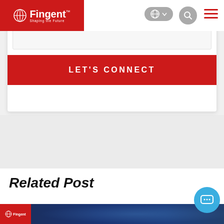Fingent – Shaping the Future
LET'S CONNECT
Related Post
[Figure (screenshot): Website banner strip at the bottom showing Fingent logo and dark blue technology-themed background]